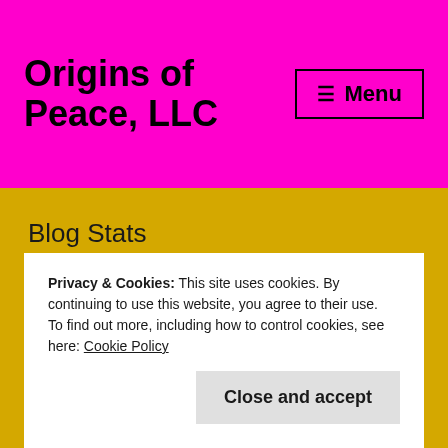Origins of Peace, LLC
Blog Stats
13,609 hits
🏠 Home › Uncategorized › Made Useful
Privacy & Cookies: This site uses cookies. By continuing to use this website, you agree to their use. To find out more, including how to control cookies, see here: Cookie Policy
Close and accept